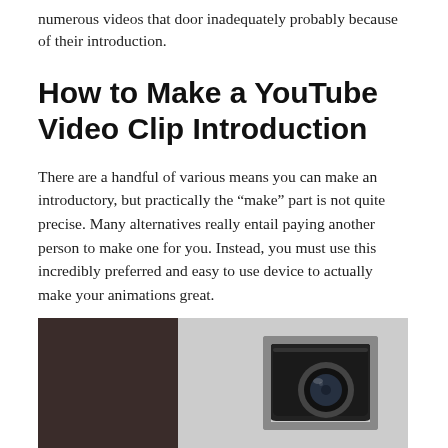numerous videos that door inadequately probably because of their introduction.
How to Make a YouTube Video Clip Introduction
There are a handful of various means you can make an introductory, but practically the “make” part is not quite precise. Many alternatives really entail paying another person to make one for you. Instead, you must use this incredibly preferred and easy to use device to actually make your animations great.
[Figure (photo): A photo showing a dark panel on the left side and an action camera with lens visible on the right side against a light background.]